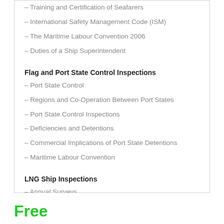– Training and Certification of Seafarers
– International Safety Management Code (ISM)
– The Maritime Labour Convention 2006
– Duties of a Ship Superintendent
Flag and Port State Control Inspections
– Port State Control
– Regions and Co-Operation Between Port States
– Port State Control Inspections
– Deficiencies and Detentions
– Commercial Implications of Port State Detentions
– Maritime Labour Convention
LNG Ship Inspections
– Annual Surveys
Free